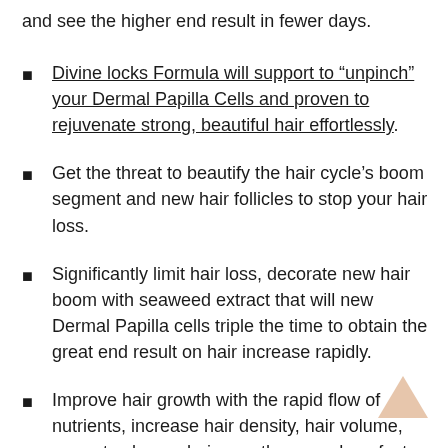and see the higher end result in fewer days.
Divine locks Formula will support to “unpinch” your Dermal Papilla Cells and proven to rejuvenate strong, beautiful hair effortlessly.
Get the threat to beautify the hair cycle’s boom segment and new hair follicles to stop your hair loss.
Significantly limit hair loss, decorate new hair boom with seaweed extract that will new Dermal Papilla cells triple the time to obtain the great end result on hair increase rapidly.
Improve hair growth with the rapid flow of nutrients, increase hair density, hair volume, promotes longer hair growth as much as faster by providing the nutrients and oxygen into your